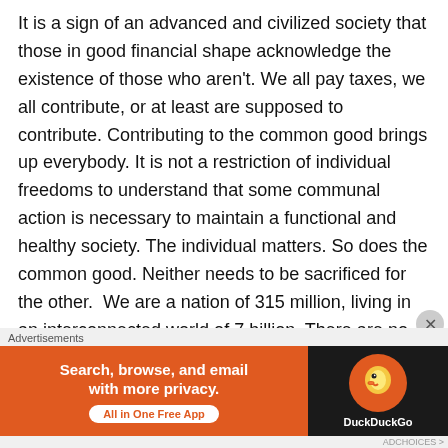It is a sign of an advanced and civilized society that those in good financial shape acknowledge the existence of those who aren't. We all pay taxes, we all contribute, or at least are supposed to contribute. Contributing to the common good brings up everybody. It is not a restriction of individual freedoms to understand that some communal action is necessary to maintain a functional and healthy society. The individual matters. So does the common good. Neither needs to be sacrificed for the other.  We are a nation of 315 million, living in an interconnected world of 7 billion. There are no islands anymore.
America prospers when Americans prosper. If someone is working 40, 50, 60 hours per week, they should not have…
[Figure (other): DuckDuckGo advertisement banner: orange left panel with text 'Search, browse, and email with more privacy. All in One Free App' and white pill-shaped button, and dark right panel with DuckDuckGo duck logo in orange circle and 'DuckDuckGo' text in white.]